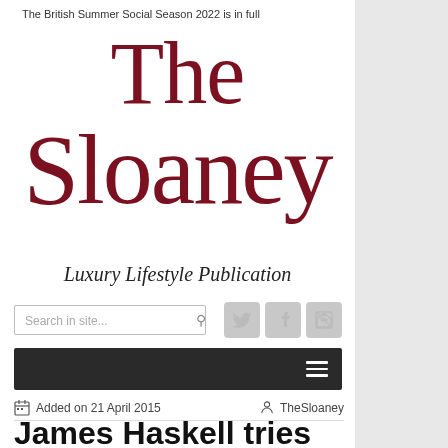The British Summer Social Season 2022 is in full
The Sloaney
Luxury Lifestyle Publication
[Figure (screenshot): Search bar with social media icons (Twitter, Facebook, RSS)]
[Figure (screenshot): Dark navigation bar with hamburger menu icon]
Added on 21 April 2015   TheSloaney
James Haskell tries ‘Below The